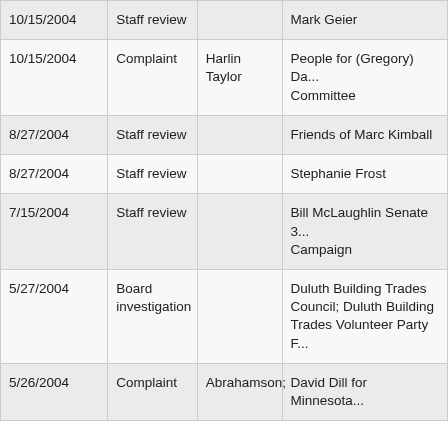| Date | Type | Complainant | Respondent |
| --- | --- | --- | --- |
| 10/15/2004 | Staff review |  | Mark Geier |
| 10/15/2004 | Complaint | Harlin Taylor | People for (Gregory) Da... Committee |
| 8/27/2004 | Staff review |  | Friends of Marc Kimball |
| 8/27/2004 | Staff review |  | Stephanie Frost |
| 7/15/2004 | Staff review |  | Bill McLaughlin Senate 3... Campaign |
| 5/27/2004 | Board investigation |  | Duluth Building Trades Council; Duluth Building Trades Volunteer Party F... |
| 5/26/2004 | Complaint | Abrahamson; | David Dill for Minnesota... |